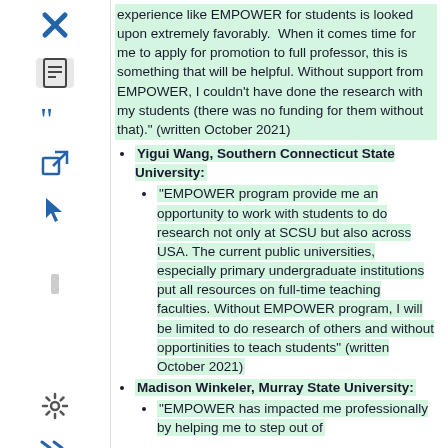experience like EMPOWER for students is looked upon extremely favorably.  When it comes time for me to apply for promotion to full professor, this is something that will be helpful. Without support from EMPOWER, I couldn't have done the research with my students (there was no funding for them without that)." (written October 2021)
Yigui Wang, Southern Connecticut State University:
"EMPOWER program provide me an opportunity to work with students to do research not only at SCSU but also across USA. The current public universities, especially primary undergraduate institutions put all resources on full-time teaching faculties. Without EMPOWER program, I will be limited to do research of others and without opportinities to teach students" (written October 2021)
Madison Winkeler, Murray State University:
"EMPOWER has impacted me professionally by helping me to step out of